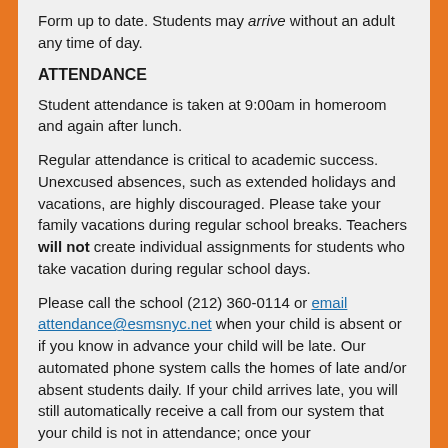Form up to date. Students may arrive without an adult any time of day.
ATTENDANCE
Student attendance is taken at 9:00am in homeroom and again after lunch.
Regular attendance is critical to academic success. Unexcused absences, such as extended holidays and vacations, are highly discouraged. Please take your family vacations during regular school breaks. Teachers will not create individual assignments for students who take vacation during regular school days.
Please call the school (212) 360-0114 or email attendance@esmsnyc.net when your child is absent or if you know in advance your child will be late. Our automated phone system calls the homes of late and/or absent students daily. If your child arrives late, you will still automatically receive a call from our system that your child is not in attendance; once your